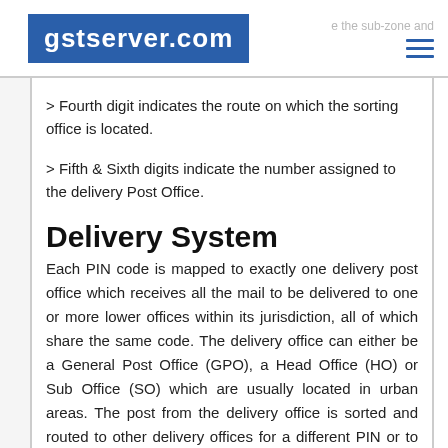gstserver.com
> Fourth digit indicates the route on which the sorting office is located.
> Fifth & Sixth digits indicate the number assigned to the delivery Post Office.
Delivery System
Each PIN code is mapped to exactly one delivery post office which receives all the mail to be delivered to one or more lower offices within its jurisdiction, all of which share the same code. The delivery office can either be a General Post Office (GPO), a Head Office (HO) or Sub Office (SO) which are usually located in urban areas. The post from the delivery office is sorted and routed to other delivery offices for a different PIN or to one of